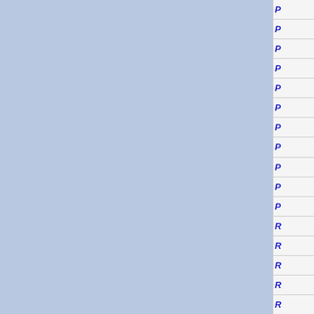[Figure (other): Page layout with two blue-grey column panels separated by a white vertical divider, and a right-side navigation panel with italic blue letter labels starting with P and R]
P
P
P
P
P
P
P
P
P
P
P
R
R
R
R
R